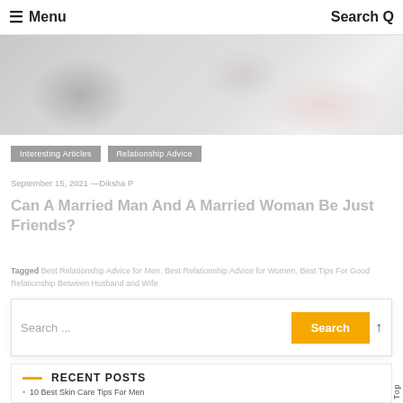☰ Menu    Search Q
[Figure (photo): Partially visible hero image showing blurred figures, appears to be a couple outdoors with floral elements, faded/washed-out appearance]
Interesting Articles   Relationship Advice
September 15, 2021 — Diksha P
Can A Married Man And A Married Woman Be Just Friends?
Tagged: Best Relationship Advice for Men, Best Relationship Advice for Women, Best Tips For Good Relationship Between Husband and Wife
Search ...   Search
Back To Top
RECENT POSTS
10 Best Skin Care Tips For Men